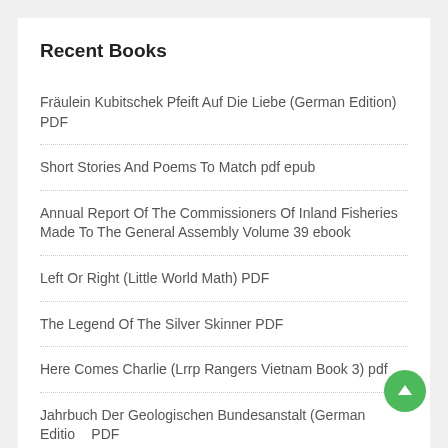Recent Books
Fräulein Kubitschek Pfeift Auf Die Liebe (German Edition) PDF
Short Stories And Poems To Match pdf epub
Annual Report Of The Commissioners Of Inland Fisheries Made To The General Assembly Volume 39 ebook
Left Or Right (Little World Math) PDF
The Legend Of The Silver Skinner PDF
Here Comes Charlie (Lrrp Rangers Vietnam Book 3) pdf
Jahrbuch Der Geologischen Bundesanstalt (German Edition) PDF